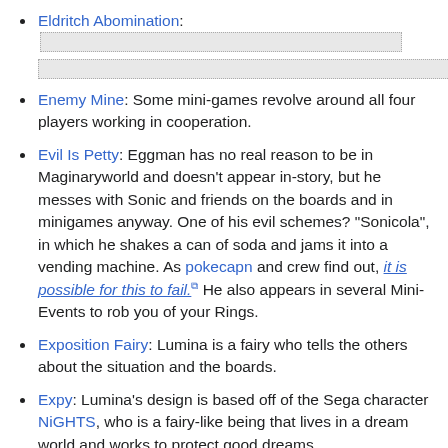Eldritch Abomination: [redacted content]
Enemy Mine: Some mini-games revolve around all four players working in cooperation.
Evil Is Petty: Eggman has no real reason to be in Maginaryworld and doesn't appear in-story, but he messes with Sonic and friends on the boards and in minigames anyway. One of his evil schemes? "Sonicola", in which he shakes a can of soda and jams it into a vending machine. As pokecapn and crew find out, it is possible for this to fail. He also appears in several Mini-Events to rob you of your Rings.
Exposition Fairy: Lumina is a fairy who tells the others about the situation and the boards.
Expy: Lumina's design is based off of the Sega character NiGHTS, who is a fairy-like being that lives in a dream world and works to protect good dreams.
Fake Shemp: While Sonic, Tails, Knuckles, Amy and Dr...